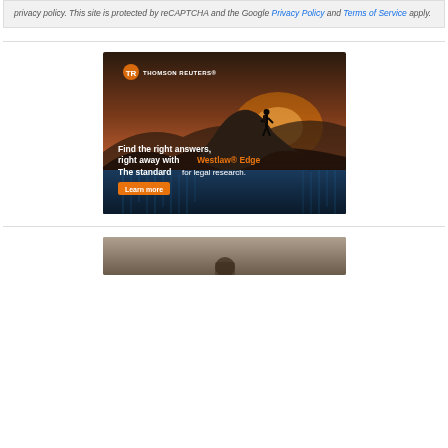privacy policy. This site is protected by reCAPTCHA and the Google Privacy Policy and Terms of Service apply.
[Figure (illustration): Thomson Reuters advertisement banner showing a silhouette of a person with a backpack standing on a mountain peak at sunset, with digital data visualization elements. Text reads: Find the right answers, right away with Westlaw® Edge. The standard for legal research. Learn more button in orange.]
[Figure (photo): Partial view of a second advertisement image at the bottom of the page, cropped.]